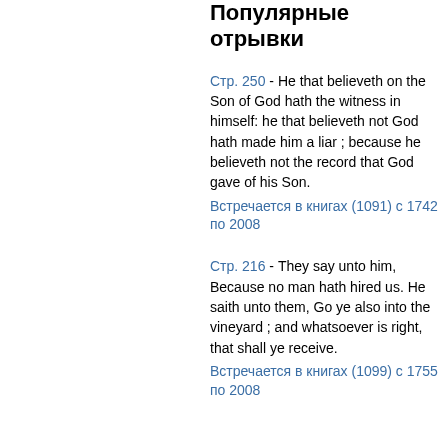Популярные отрывки
Стр. 250 - He that believeth on the Son of God hath the witness in himself: he that believeth not God hath made him a liar ; because he believeth not the record that God gave of his Son.
Встречается в книгах (1091) с 1742 по 2008
Стр. 216 - They say unto him, Because no man hath hired us. He saith unto them, Go ye also into the vineyard ; and whatsoever is right, that shall ye receive.
Встречается в книгах (1099) с 1755 по 2008